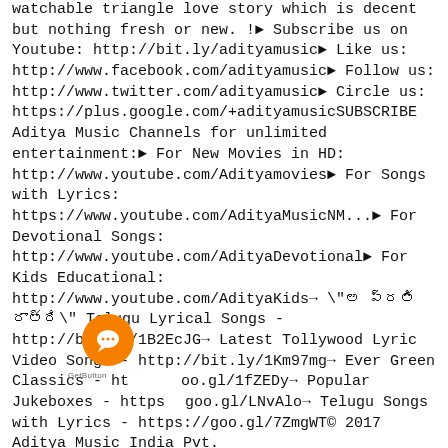watchable triangle love story which is decent but nothing fresh or new. !► Subscribe us on Youtube: http://bit.ly/adityamusic► Like us: http://www.facebook.com/adityamusic► Follow us: http://www.twitter.com/adityamusic► Circle us: https://plus.google.com/+adityamusicSUBSCRIBE Aditya Music Channels for unlimited entertainment:► For New Movies in HD: http://www.youtube.com/Adityamovies► For Songs with Lyrics: https://www.youtube.com/AdityaMusicNM...► For Devotional Songs: http://www.youtube.com/AdityaDevotional► For Kids Educational: http://www.youtube.com/AdityaKids→ "అ�� ప్రతి రాత్రి" Telugu Lyrical Songs - http://bit.ly/1B2EcJG→ Latest Tollywood Lyric Video Songs - http://bit.ly/1Km97mg→ Ever Green Classics - http://goo.gl/1fZEDy→ Popular Jukeboxes - https://goo.gl/LNvAlo→ Telugu Songs with Lyrics - https://goo.gl/7ZmgWT© 2017 Aditya Music India Pvt.